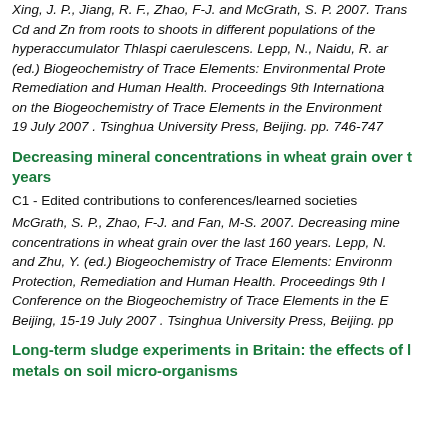Xing, J. P., Jiang, R. F., Zhao, F-J. and McGrath, S. P. 2007. Trans Cd and Zn from roots to shoots in different populations of the hyperaccumulator Thlaspi caerulescens. Lepp, N., Naidu, R. and (ed.) Biogeochemistry of Trace Elements: Environmental Prote Remediation and Human Health. Proceedings 9th Internationa on the Biogeochemistry of Trace Elements in the Environment 19 July 2007 . Tsinghua University Press, Beijing. pp. 746-747
Decreasing mineral concentrations in wheat grain over years
C1 - Edited contributions to conferences/learned societies
McGrath, S. P., Zhao, F-J. and Fan, M-S. 2007. Decreasing mine concentrations in wheat grain over the last 160 years. Lepp, N and Zhu, Y. (ed.) Biogeochemistry of Trace Elements: Environm Protection, Remediation and Human Health. Proceedings 9th Conference on the Biogeochemistry of Trace Elements in the B Beijing, 15-19 July 2007 . Tsinghua University Press, Beijing. pp
Long-term sludge experiments in Britain: the effects of metals on soil micro-organisms